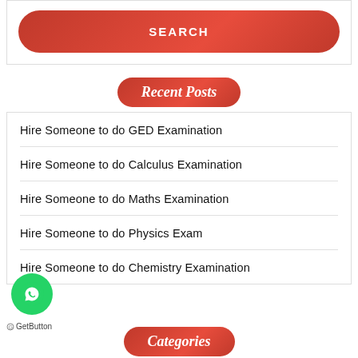[Figure (other): Red rounded SEARCH button]
Recent Posts
Hire Someone to do GED Examination
Hire Someone to do Calculus Examination
Hire Someone to do Maths Examination
Hire Someone to do Physics Exam
Hire Someone to do Chemistry Examination
Categories
[Figure (logo): WhatsApp green circular button with phone icon]
GetButton